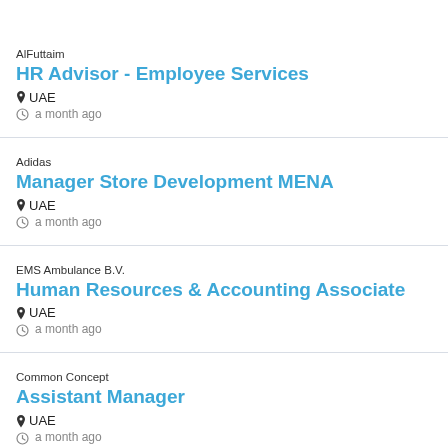AlFuttaim
HR Advisor - Employee Services
UAE
a month ago
Adidas
Manager Store Development MENA
UAE
a month ago
EMS Ambulance B.V.
Human Resources & Accounting Associate
UAE
a month ago
Common Concept
Assistant Manager
UAE
a month ago